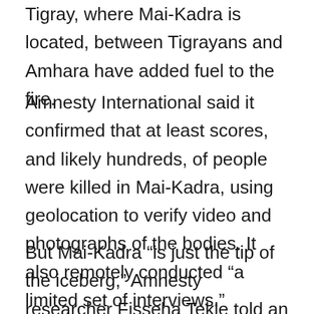Tigray, where Mai-Kadra is located, between Tigrayans and Amhara have added fuel to the fire.
Amnesty International said it confirmed that at least scores, and likely hundreds, of people were killed in Mai-Kadra, using geolocation to verify video and photographs of the bodies. It also remotely conducted “a limited set of interviews.”
But Mai-Kadra “is just the tip of the iceberg,” Amnesty researcher Fisseha Tekle told an event on Tuesday as fears grow about